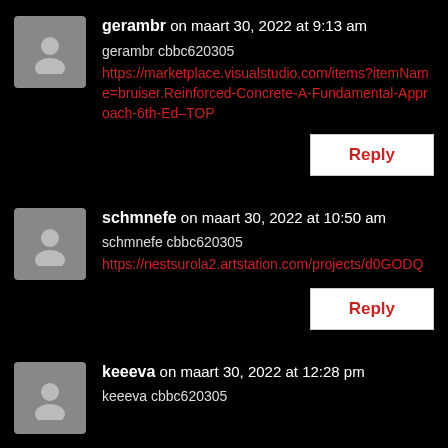gerambr on maart 30, 2022 at 9:13 am
gerambr cbbc620305
https://marketplace.visualstudio.com/items?itemName=bruiser.Reinforced-Concrete-A-Fundamental-Approach-6th-Ed–TOP
Reply
schmnefe on maart 30, 2022 at 10:50 am
schmnefe cbbc620305
https://nestsurola2.artstation.com/projects/d0GODQ
Reply
keeeva on maart 30, 2022 at 12:28 pm
keeeva cbbc620305